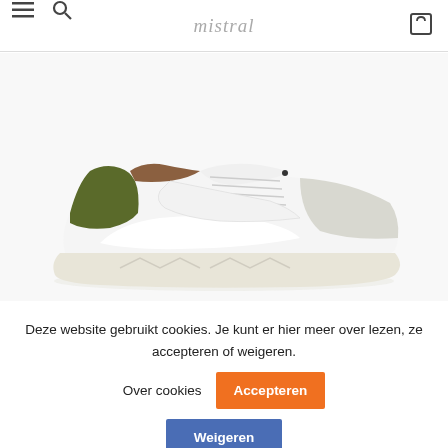mistral — navigation header with menu, search, and cart icons
[Figure (photo): White leather sneaker with olive green suede heel counter and light grey suede toe cap, white chunky sole, side profile view on white background]
Deze website gebruikt cookies. Je kunt er hier meer over lezen, ze accepteren of weigeren.
Over cookies
Accepteren
Weigeren